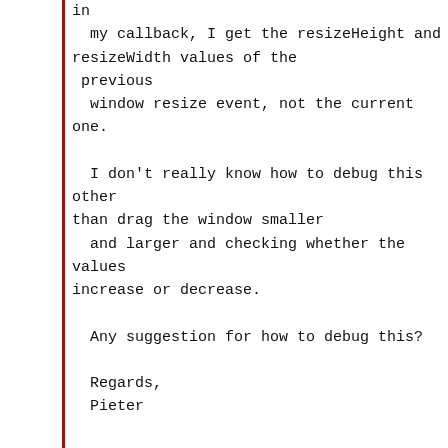in
  my callback, I get the resizeHeight and resizeWidth values of the
 previous
  window resize event, not the current one.

  I don't really know how to debug this other than drag the window smaller
  and larger and checking whether the values increase or decrease.

  Any suggestion for how to debug this?

  Regards,
  Pieter



  On Sat, Mar 9, 2013 at 4:56 PM, Ernesto Reinaldo Barreiro
  reier...@gmail.com wrote:

   Pieter,